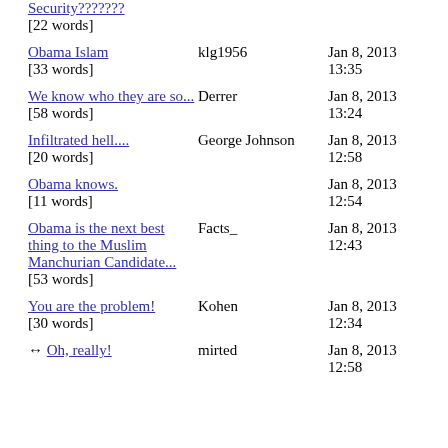Security??????? [22 words]
Obama Islam | klg1956 | Jan 8, 2013 13:35 [33 words]
We know who they are so... [58 words] | Derrer | Jan 8, 2013 13:24
Infiltrated hell.... [20 words] | George Johnson | Jan 8, 2013 12:58
Obama knows. [11 words] | | Jan 8, 2013 12:54
Obama is the next best thing to the Muslim Manchurian Candidate... [53 words] | Facts_ | Jan 8, 2013 12:43
You are the problem! [30 words] | Kohen | Jan 8, 2013 12:34
↔ Oh, really! [27 words] | mirted | Jan 8, 2013 12:58